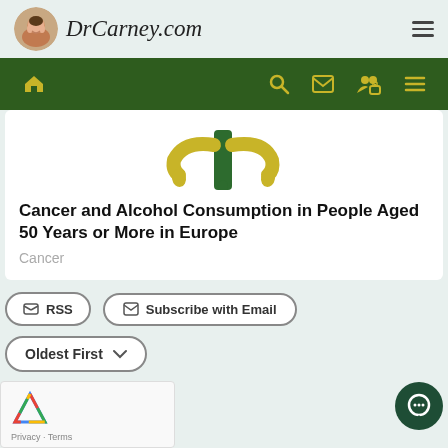DrCarney.com
[Figure (illustration): Website navigation bar with dark green background and yellow/gold icons: home, search, envelope, user/lock, hamburger menu]
[Figure (illustration): Partial illustration showing a green tree with yellow decorative elements on a light background]
Cancer and Alcohol Consumption in People Aged 50 Years or More in Europe
Cancer
RSS
Subscribe with Email
Oldest First
ments (0)